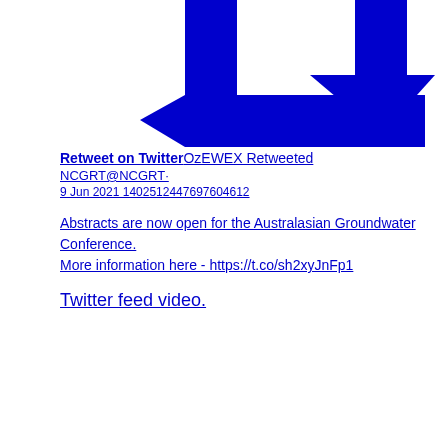[Figure (illustration): Large blue icon showing a retweet/download symbol: a rectangular arrow pointing down-left and a separate downward arrow, both in solid blue on white background.]
Retweet on TwitterOzEWEX Retweeted
NCGRT@NCGRT·
9 Jun 2021 1402512447697604612

Abstracts are now open for the Australasian Groundwater Conference. More information here - https://t.co/sh2xyJnFp1

Twitter feed video.